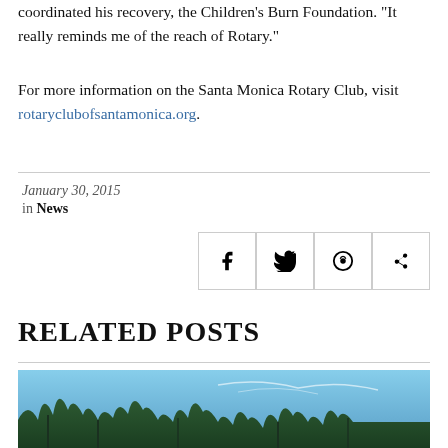coordinated his recovery, the Children’s Burn Foundation. “It really reminds me of the reach of Rotary.”
For more information on the Santa Monica Rotary Club, visit rotaryclubofsantamonica.org.
January 30, 2015
in News
[Figure (other): Social sharing icons for Facebook, Twitter, Reddit, and Tumblr]
RELATED POSTS
[Figure (photo): Outdoor photo showing trees against a blue sky]